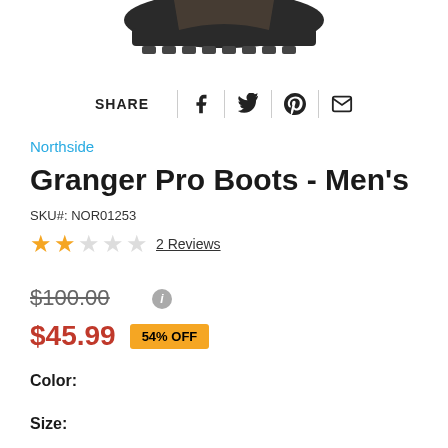[Figure (photo): Partial view of a brown/dark boot sole and toe, cropped at top of page]
SHARE | f | (twitter bird) | (pinterest) | (email)
Northside
Granger Pro Boots - Men's
SKU#: NOR01253
★★☆☆☆ 2 Reviews
$100.00
$45.99  54% OFF
Color:
Size: